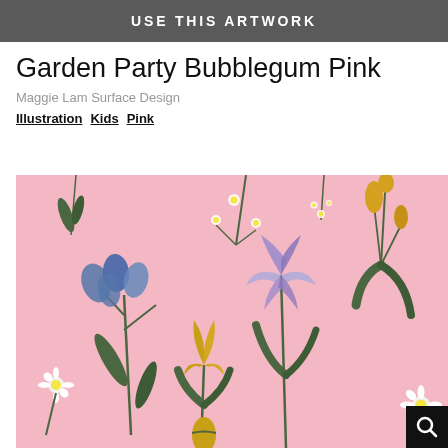USE THIS ARTWORK
Garden Party Bubblegum Pink
Maggie Lam Surface Design
Illustration  Kids  Pink
[Figure (illustration): Floral pattern on bubblegum pink background featuring botanical illustrations of bluebells, irises, tulips, daisies, and other garden flowers with green stems and leaves, in a scattered repeat pattern style.]